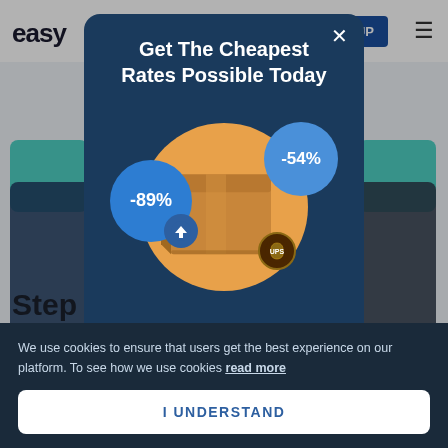easy  UP  ≡
[Figure (screenshot): Background page showing Easyship website with teal card, dark card, and partial text 'Step' and 'Subs']
Get The Cheapest Rates Possible Today
[Figure (infographic): Modal graphic showing a cardboard package on an orange circle background, with two blue discount bubbles showing -89% (with USPS logo) and -54% (with UPS logo)]
Create an Easyship account to
We use cookies to ensure that users get the best experience on our platform. To see how we use cookies read more
I UNDERSTAND